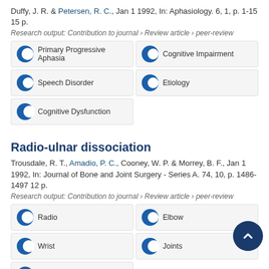Duffy, J. R. & Petersen, R. C., Jan 1 1992, In: Aphasiology. 6, 1, p. 1-15 15 p.
Research output: Contribution to journal › Review article › peer-review
Primary Progressive Aphasia
Cognitive Impairment
Speech Disorder
Etiology
Cognitive Dysfunction
Radio-ulnar dissociation
Trousdale, R. T., Amadio, P. C., Cooney, W. P. & Morrey, B. F., Jan 1 1992, In: Journal of Bone and Joint Surgery - Series A. 74, 10, p. 1486-1497 12 p.
Research output: Contribution to journal › Review article › peer-review
Radio
Elbow
Wrist
Joints
Wrist Injuries